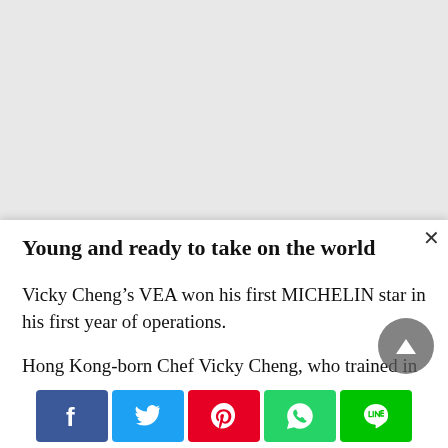Young and ready to take on the world
Vicky Cheng’s VEA won his first MICHELIN star in his first year of operations.
Hong Kong-born Chef Vicky Cheng, who trained in the culinary management programme at George Brown College in Toronto, returned to Hong Kong in 2011. He set up VEA in 2016 and won a Michelin star in its first year of operations. Barely 36 years